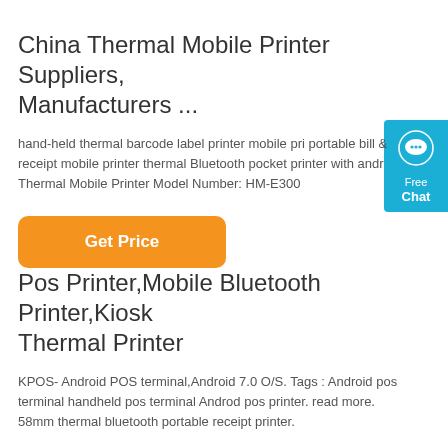China Thermal Mobile Printer Suppliers, Manufacturers ...
hand-held thermal barcode label printer mobile pri portable bill & receipt mobile printer thermal Bluetooth pocket printer with andr Thermal Mobile Printer Model Number: HM-E300
[Figure (other): Orange 'Get Price' button]
Pos Printer,Mobile Bluetooth Printer,Kiosk Thermal Printer
KPOS- Android POS terminal,Android 7.0 O/S. Tags : Android pos terminal handheld pos terminal Androd pos printer. read more. 58mm thermal bluetooth portable receipt printer.
[Figure (other): Blue chat widget with speech bubble icon, 'Free Chat' text]